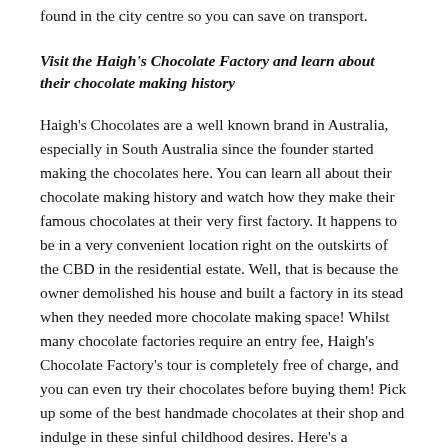found in the city centre so you can save on transport.
Visit the Haigh's Chocolate Factory and learn about their chocolate making history
Haigh's Chocolates are a well known brand in Australia, especially in South Australia since the founder started making the chocolates here. You can learn all about their chocolate making history and watch how they make their famous chocolates at their very first factory. It happens to be in a very convenient location right on the outskirts of the CBD in the residential estate. Well, that is because the owner demolished his house and built a factory in its stead when they needed more chocolate making space! Whilst many chocolate factories require an entry fee, Haigh's Chocolate Factory's tour is completely free of charge, and you can even try their chocolates before buying them! Pick up some of the best handmade chocolates at their shop and indulge in these sinful childhood desires. Here's a